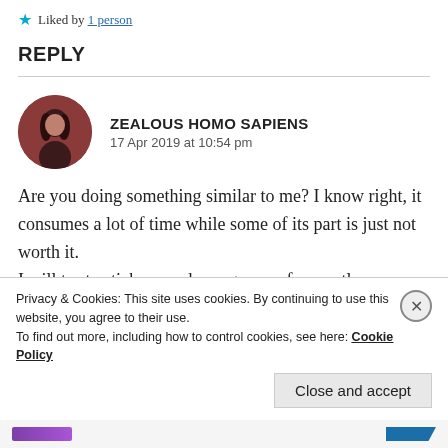★ Liked by 1 person
REPLY
ZEALOUS HOMO SAPIENS
17 Apr 2019 at 10:54 pm
Are you doing something similar to me? I know right, it consumes a lot of time while some of its part is just not worth it.
I will try to stick around you guys as frequently
Privacy & Cookies: This site uses cookies. By continuing to use this website, you agree to their use.
To find out more, including how to control cookies, see here: Cookie Policy
Close and accept